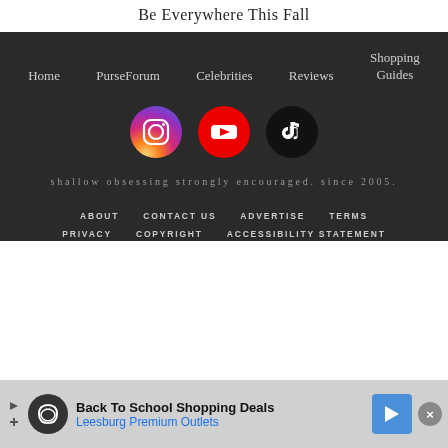Be Everywhere This Fall
Home   PurseForum   Celebrities   Reviews   Shopping Guides
[Figure (illustration): Three social media icons: Instagram (pink gradient circle), YouTube (red circle with play button), TikTok (black circle with TikTok logo)]
shallow obsessing strongly encouraged. since 2005.
ABOUT   CONTACT US   ADVERTISE   TERMS   PRIVACY   COPYRIGHT   ACCESSIBILITY STATEMENT
[Figure (infographic): Advertisement banner: Back To School Shopping Deals - Leesburg Premium Outlets, with logo and navigation icon]